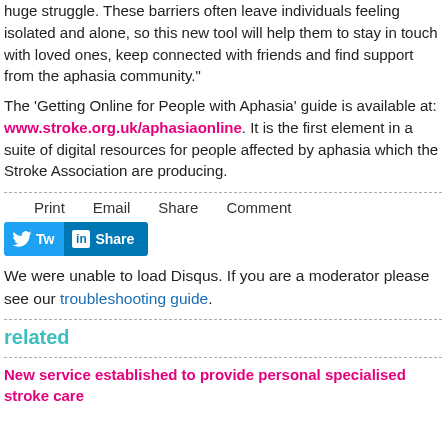huge struggle. These barriers often leave individuals feeling isolated and alone, so this new tool will help them to stay in touch with loved ones, keep connected with friends and find support from the aphasia community."
The ‘Getting Online for People with Aphasia’ guide is available at: www.stroke.org.uk/aphasiaonline. It is the first element in a suite of digital resources for people affected by aphasia which the Stroke Association are producing.
Print   Email   Share   Comment
[Figure (other): Twitter and LinkedIn share buttons]
We were unable to load Disqus. If you are a moderator please see our troubleshooting guide.
related
New service established to provide personal specialised stroke care